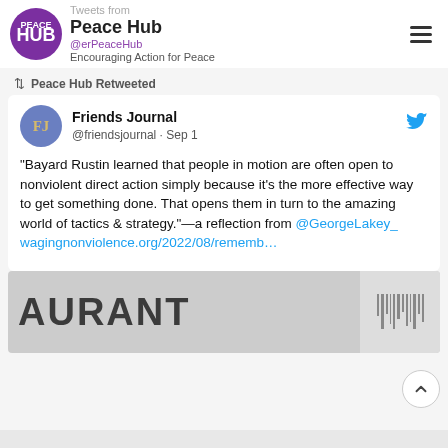Peace Hub — Encouraging Action for Peace
Peace Hub Retweeted
Friends Journal @friendsjournal · Sep 1
"Bayard Rustin learned that people in motion are often open to nonviolent direct action simply because it's the more effective way to get something done. That opens them in turn to the amazing world of tactics & strategy."—a reflection from @GeorgeLakey_ wagingnonviolence.org/2022/08/rememb…
[Figure (photo): Black and white photo showing a restaurant sign reading AURANT (partial), with a barcode-like strip on the right side]